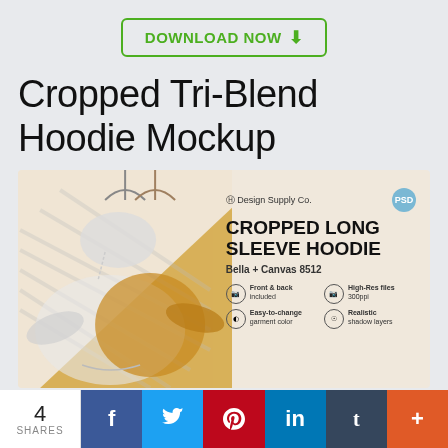[Figure (other): Download Now button with green border and download icon]
Cropped Tri-Blend Hoodie Mockup
[Figure (illustration): Mockup product image showing a cropped long sleeve hoodie hanging on hangers, with Design Supply Co. branding, PSD badge, product title CROPPED LONG SLEEVE HOODIE, Bella + Canvas 8512, and feature icons for Front & back included, High-Res files 300ppi, Easy-to-change garment color, Realistic shadow layers]
[Figure (infographic): Social sharing bar with 4 SHARES count and buttons for Facebook, Twitter, Pinterest, LinkedIn, Tumblr, and plus]